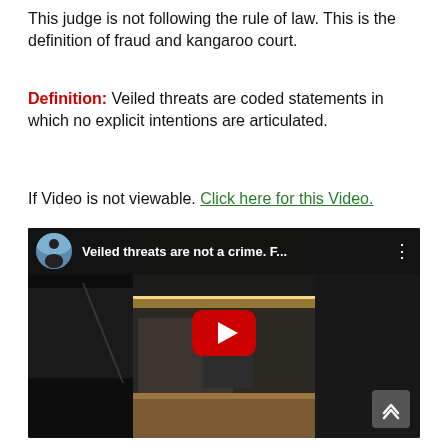This judge is not following the rule of law. This is the definition of fraud and kangaroo court.
Definition: Veiled threats are coded statements in which no explicit intentions are articulated.
If Video is not viewable. Click here for this Video.
[Figure (screenshot): YouTube video embed showing 'Veiled threats are not a crime. F...' with a play button overlay over a dark courtroom interior image]